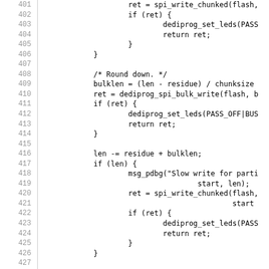Source code listing, lines 401-430, C programming language snippet involving spi_write_chunked, dediprog_set_leds, dediprog_spi_bulk_write, msg_pdbg, bulklen, residue, chunksize, len, ret.